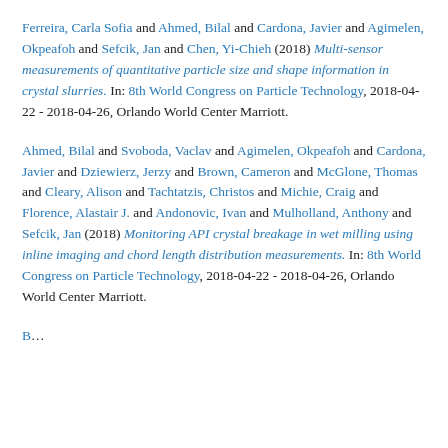Ferreira, Carla Sofia and Ahmed, Bilal and Cardona, Javier and Agimelen, Okpeafoh and Sefcik, Jan and Chen, Yi-Chieh (2018) Multi-sensor measurements of quantitative particle size and shape information in crystal slurries. In: 8th World Congress on Particle Technology, 2018-04-22 - 2018-04-26, Orlando World Center Marriott.
Ahmed, Bilal and Svoboda, Vaclav and Agimelen, Okpeafoh and Cardona, Javier and Dziewierz, Jerzy and Brown, Cameron and McGlone, Thomas and Cleary, Alison and Tachtatzis, Christos and Michie, Craig and Florence, Alastair J. and Andonovic, Ivan and Mulholland, Anthony and Sefcik, Jan (2018) Monitoring API crystal breakage in wet milling using inline imaging and chord length distribution measurements. In: 8th World Congress on Particle Technology, 2018-04-22 - 2018-04-26, Orlando World Center Marriott.